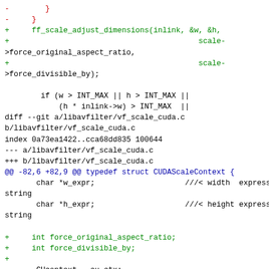diff --git code snippet showing changes to vf_scale_cuda.c and related files